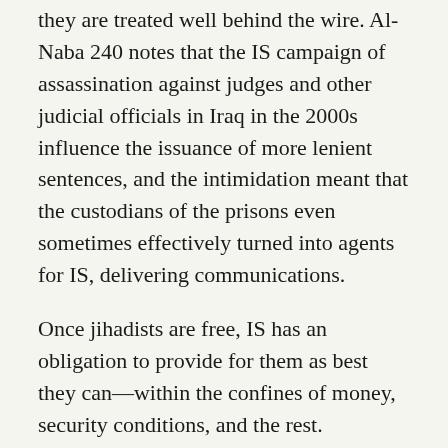they are treated well behind the wire. Al-Naba 240 notes that the IS campaign of assassination against judges and other judicial officials in Iraq in the 2000s influence the issuance of more lenient sentences, and the intimidation meant that the custodians of the prisons even sometimes effectively turned into agents for IS, delivering communications.
Once jihadists are free, IS has an obligation to provide for them as best they can—within the confines of money, security conditions, and the rest.
In concluding the editorial, IS reiterates: “The duty of all Muslims today is to strive to release the male and female captives from the prisons of the infidels, and to do everything possible to achieve this.”